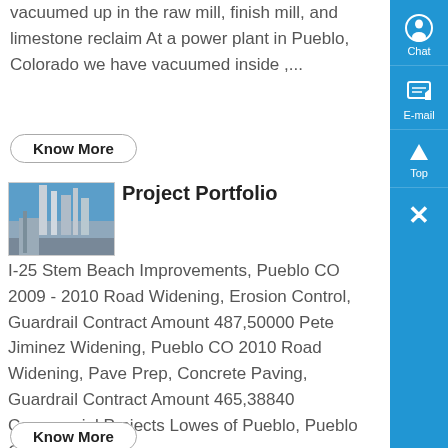vacuumed up in the raw mill, finish mill, and limestone reclaim At a power plant in Pueblo, Colorado we have vacuumed inside ,...
Know More
[Figure (photo): Industrial facility with tall structures, appears to be a cement or power plant site with equipment and blue sky background]
Project Portfolio
I-25 Stem Beach Improvements, Pueblo CO 2009 - 2010 Road Widening, Erosion Control, Guardrail Contract Amount 487,50000 Pete Jiminez Widening, Pueblo CO 2010 Road Widening, Pave Prep, Concrete Paving, Guardrail Contract Amount 465,38840 Commercial Projects Lowes of Pueblo, Pueblo CO ,...
Know More